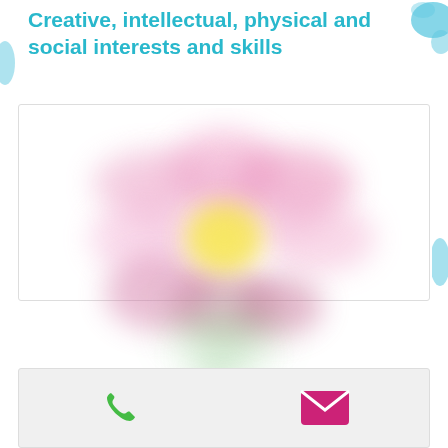Creative, intellectual, physical and social interests and skills
[Figure (illustration): A soft, blurry stylized flower illustration with pink petals and a yellow center, with a green stem area below, on a white background. Blue decorative blobs appear in the corners/edges.]
[Figure (infographic): Bottom bar with a green phone icon on the left and a pink/magenta envelope/email icon on the right, on a light gray background.]